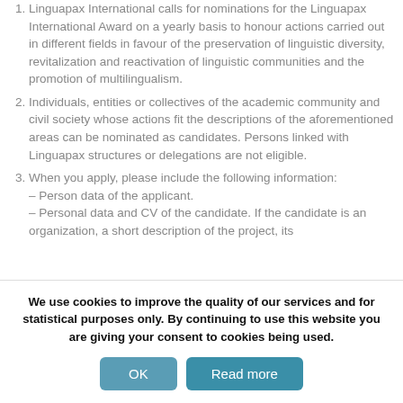Linguapax International calls for nominations for the Linguapax International Award on a yearly basis to honour actions carried out in different fields in favour of the preservation of linguistic diversity, revitalization and reactivation of linguistic communities and the promotion of multilingualism.
Individuals, entities or collectives of the academic community and civil society whose actions fit the descriptions of the aforementioned areas can be nominated as candidates. Persons linked with Linguapax structures or delegations are not eligible.
When you apply, please include the following information: – Person data of the applicant. – Personal data and CV of the candidate. If the candidate is an organization, a short description of the project, its
We use cookies to improve the quality of our services and for statistical purposes only. By continuing to use this website you are giving your consent to cookies being used.
OK    Read more